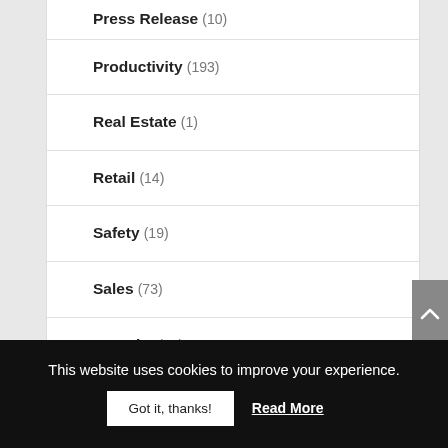Press Release (10)
Productivity (193)
Real Estate (1)
Retail (14)
Safety (19)
Sales (73)
Security (56)
SEO (96)
This website uses cookies to improve your experience.
Got it, thanks! Read More